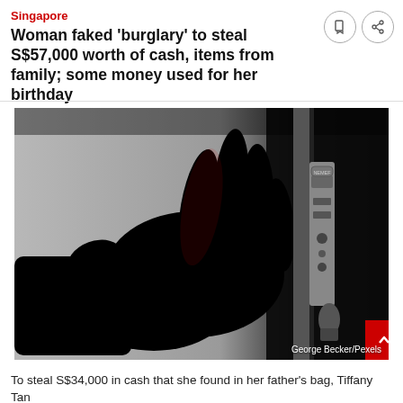Singapore
Woman faked 'burglary' to steal S$57,000 worth of cash, items from family; some money used for her birthday
[Figure (photo): Silhouette of a hand reaching toward a door lock mechanism, illustrating a burglary scene. Credit: George Becker/Pexels]
To steal S$34,000 in cash that she found in her father's bag, Tiffany Tan